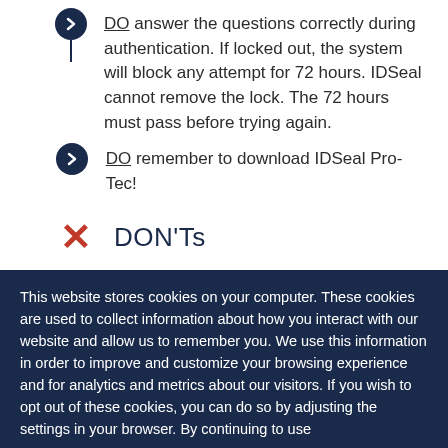DO answer the questions correctly during authentication. If locked out, the system will block any attempt for 72 hours. IDSeal cannot remove the lock. The 72 hours must pass before trying again.
DO remember to download IDSeal Pro-Tec!
DON'Ts
DON'T have the ACN IBO submit an order or contact IDSeal on your
This website stores cookies on your computer. These cookies are used to collect information about how you interact with our website and allow us to remember you. We use this information in order to improve and customize your browsing experience and for analytics and metrics about our visitors. If you wish to opt out of these cookies, you can do so by adjusting the settings in your browser. By continuing to use